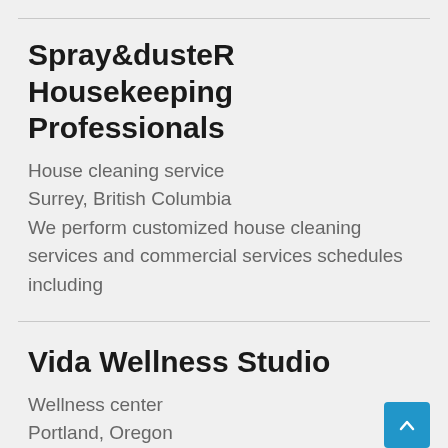Spray&dusteR Housekeeping Professionals
House cleaning service
Surrey, British Columbia
We perform customized house cleaning services and commercial services schedules including
Vida Wellness Studio
Wellness center
Portland, Oregon
Cryotherapy Portland Oregon